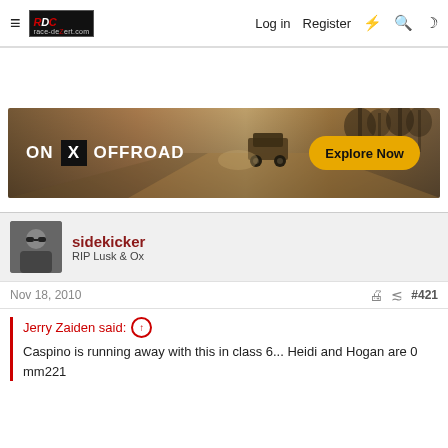race-dezert.com | Log in | Register
[Figure (infographic): ON X OFFROAD advertisement banner with off-road vehicle driving on a dirt trail, sepia-toned background. Text: ON X OFFROAD with an Explore Now button.]
sidekicker
RIP Lusk & Ox
Nov 18, 2010  #421
Jerry Zaiden said: ↑
Caspino is running away with this in class 6... Heidi and Hogan are 0 mm221